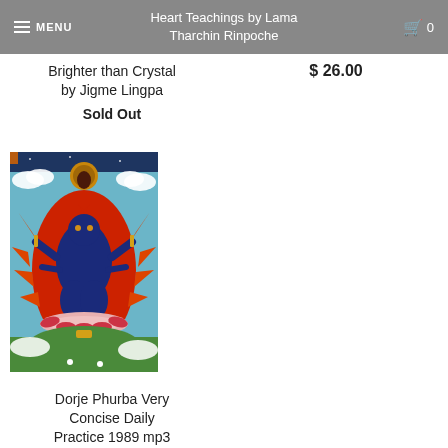Heart Teachings by Lama Tharchin Rinpoche
Brighter than Crystal by Jigme Lingpa
Sold Out
$ 26.00
[Figure (photo): Thangka painting of Dorje Phurba deity with red flames, blue body, multiple arms, standing on a lotus throne with a smaller deity above in a circular mandala, surrounded by green landscape]
Dorje Phurba Very Concise Daily Practice 1989 mp3
$ 7.00